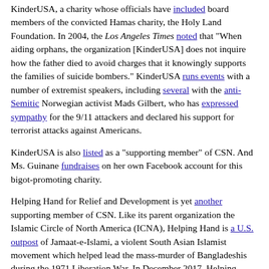KinderUSA, a charity whose officials have included board members of the convicted Hamas charity, the Holy Land Foundation. In 2004, the Los Angeles Times noted that "When aiding orphans, the organization [KinderUSA] does not inquire how the father died to avoid charges that it knowingly supports the families of suicide bombers." KinderUSA runs events with a number of extremist speakers, including several with the anti-Semitic Norwegian activist Mads Gilbert, who has expressed sympathy for the 9/11 attackers and declared his support for terrorist attacks against Americans.
KinderUSA is also listed as a "supporting member" of CSN. And Ms. Guinane fundraises on her own Facebook account for this bigot-promoting charity.
Helping Hand for Relief and Development is yet another supporting member of CSN. Like its parent organization the Islamic Circle of North America (ICNA), Helping Hand is a U.S. outpost of Jamaat-e-Islami, a violent South Asian Islamist movement which helped lead the mass-murder of Bangladeshis during the 1971 Liberation War. In December 2017, Helping Hand organized a conference in Pakistan, to which it invited the Falah-e-Insaniat Foundation and the Milli Muslim League, the charitable and political wings respectively of the Pakistani terrorist organization Lashkar-e-Taiba. A year before Helping Hand's